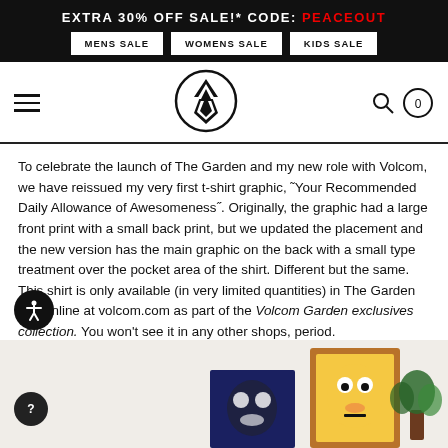EXTRA 30% OFF SALE!* CODE: PEACEOUT
MENS SALE | WOMENS SALE | KIDS SALE
[Figure (logo): Volcom logo - stone symbol in a circle, black and white]
To celebrate the launch of The Garden and my new role with Volcom, we have reissued my very first t-shirt graphic, "Your Recommended Daily Allowance of Awesomeness". Originally, the graphic had a large front print with a small back print, but we updated the placement and the new version has the main graphic on the back with a small type treatment over the pocket area of the shirt. Different but the same. This shirt is only available (in very limited quantities) in The Garden and online at volcom.com as part of the Volcom Garden exclusives collection. You won't see it in any other shops, period.
[Figure (photo): Bottom partial image showing framed artwork and decorative items on a shelf with light beige background]